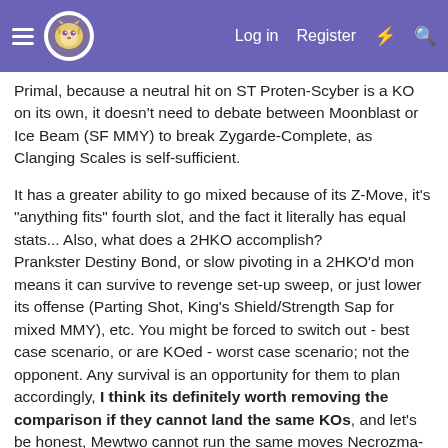Log in  Register
Primal, because a neutral hit on ST Proten-Scyber is a KO on its own, it doesn't need to debate between Moonblast or Ice Beam (SF MMY) to break Zygarde-Complete, as Clanging Scales is self-sufficient.
It has a greater ability to go mixed because of its Z-Move, it's "anything fits" fourth slot, and the fact it literally has equal stats... Also, what does a 2HKO accomplish?
Prankster Destiny Bond, or slow pivoting in a 2HKO'd mon means it can survive to revenge set-up sweep, or just lower its offense (Parting Shot, King's Shield/Strength Sap for mixed MMY), etc. You might be forced to switch out - best case scenario, or are KOed - worst case scenario; not the opponent. Any survival is an opportunity for them to plan accordingly, I think its definitely worth removing the comparison if they cannot land the same KOs, and let's be honest, Mewtwo cannot run the same moves Necrozma-Ultra can, and thus it wont have the same coverage, or KOs to really draw comparisons. For example, MMY Ice Beam is not super effective vs Kyurem-Black, Kyurem-White, Palkia, etc. so that